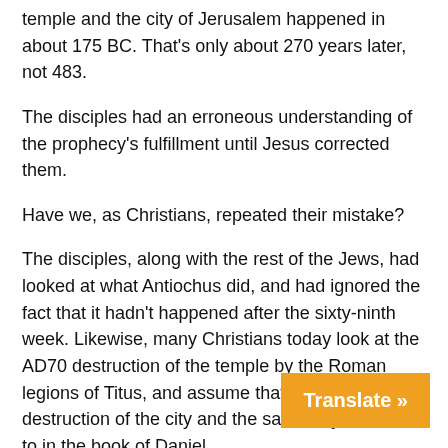temple and the city of Jerusalem happened in about 175 BC. That's only about 270 years later, not 483.
The disciples had an erroneous understanding of the prophecy's fulfillment until Jesus corrected them.
Have we, as Christians, repeated their mistake?
The disciples, along with the rest of the Jews, had looked at what Antiochus did, and had ignored the fact that it hadn't happened after the sixty-ninth week. Likewise, many Christians today look at the AD70 destruction of the temple by the Roman legions of Titus, and assume that to be the destruction of the city and the sanctuary referred to in the book of Daniel.
In fact, it has become common for those who study prophecy to examine the soldiers who were in those Roman legions, and to then attempt to draw conclusions about the future antichrist, the 'ruler who will come.'
Is it reasonable to do that? Were those Ro…